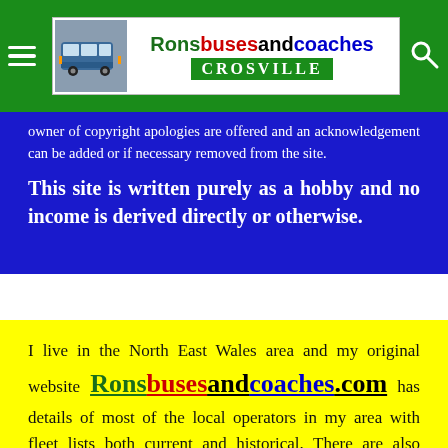Ronsbusesandcoaches CROSVILLE
owner of copyright apologies are offered and an acknowledgement can be added or if necessary removed from the site.
This site is written purely as a hobby and no income is derived directly or otherwise.
I live in the North East Wales area and my original website Ronsbusesandcoaches.com has details of most of the local operators in my area with fleet lists both current and historical. There are also pages devoted to the many operators within this area that no longer trade including a number that sold their business to Crosville.